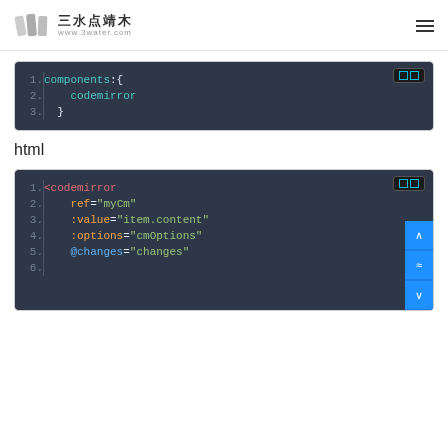三水点靖木 www.3water.com
[Figure (screenshot): Code block showing JavaScript: components:{ codemirror }]
html
[Figure (screenshot): Code block showing HTML: <codemirror ref="myCm" :value="item.content" :options="cmOptions" @changes="changes"]